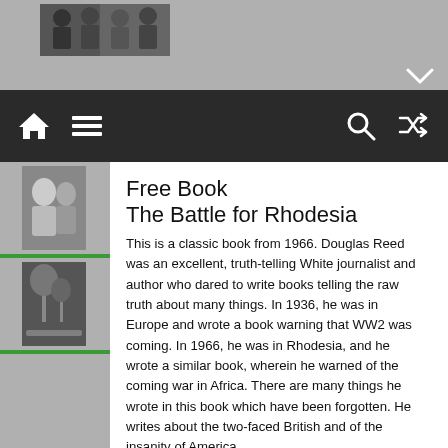[Figure (photo): Top gray bar with a small thumbnail photo of people, and a chevron-down icon at bottom right]
Navigation bar with home icon, hamburger menu, search icon, and shuffle icon on dark background
[Figure (photo): Left sidebar with two thumbnail images separated by green lines]
Free Book
The Battle for Rhodesia
This is a classic book from 1966. Douglas Reed was an excellent, truth-telling White journalist and author who dared to write books telling the raw truth about many things. In 1936, he was in Europe and wrote a book warning that WW2 was coming. In 1966, he was in Rhodesia, and he wrote a similar book, wherein he warned of the coming war in Africa. There are many things he wrote in this book which have been forgotten. He writes about the two-faced British and of the insanity of America.